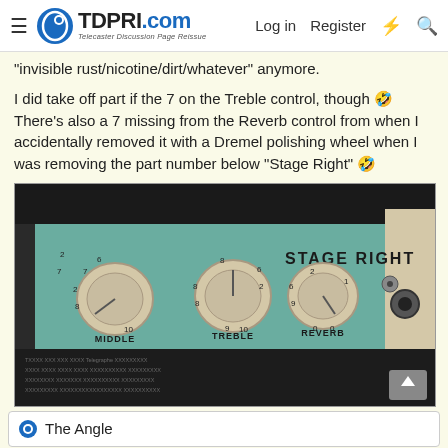TDPRI.com — Telecaster Discussion Page Reissue | Log in | Register
"invisible rust/nicotine/dirt/whatever" anymore.
I did take off part if the 7 on the Treble control, though 🤣 There's also a 7 missing from the Reverb control from when I accidentally removed it with a Dremel polishing wheel when I was removing the part number below "Stage Right" 🤣
[Figure (photo): Close-up photo of guitar amplifier control panel showing three knobs labeled MIDDLE, TREBLE, and REVERB with numbers around them, and text STAGE RIGHT in upper right. The amp face is teal/mint green.]
The Angle